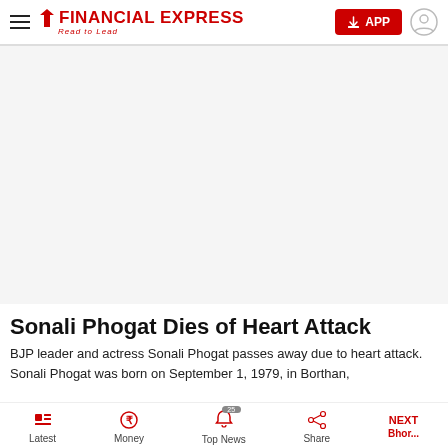Financial Express — Read to Lead
[Figure (other): Advertisement / blank space]
Sonali Phogat Dies of Heart Attack
BJP leader and actress Sonali Phogat passes away due to heart attack. Sonali Phogat was born on September 1, 1979, in Borthan,
Latest | Money | Top News | Share | NEXT Bhor...